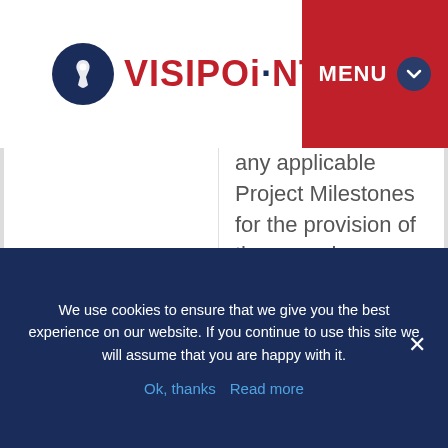VISIPOINT | MENU
| Term | Definition |
| --- | --- |
|  | any applicable Project Milestones for the provision of the same by LamasaTech; |
| Project Milestone | the date by which a part of the Equipment, Software or |
We use cookies to ensure that we give you the best experience on our website. If you continue to use this site we will assume that you are happy with it.
Ok, thanks   Read more